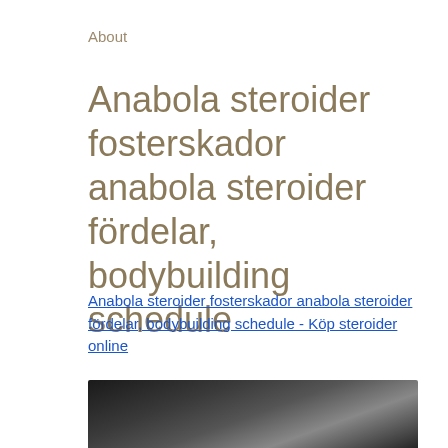About
Anabola steroider fosterskador anabola steroider fördelar, bodybuilding schedule
Anabola steroider fosterskador anabola steroider fördelar, bodybuilding schedule - Köp steroider online
[Figure (photo): A dark, blurry photograph showing a person's upper body in a gym or bodybuilding context]